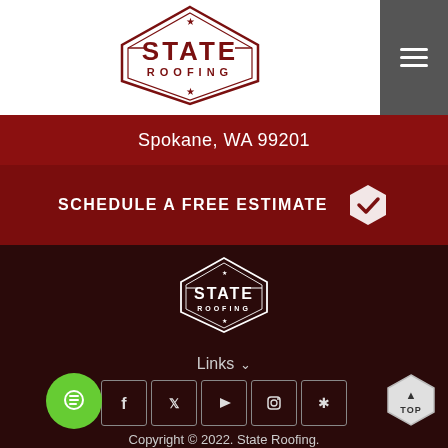[Figure (logo): State Roofing logo - dark red hexagon badge with STATE ROOFING text and Washington state outline]
Spokane, WA 99201
SCHEDULE A FREE ESTIMATE
[Figure (logo): State Roofing footer logo - white hexagon badge with STATE ROOFING text on dark background]
Links
[Figure (infographic): Social media icons: Facebook, Twitter, YouTube, Instagram, Yelp in bordered boxes]
Copyright © 2022. State Roofing.